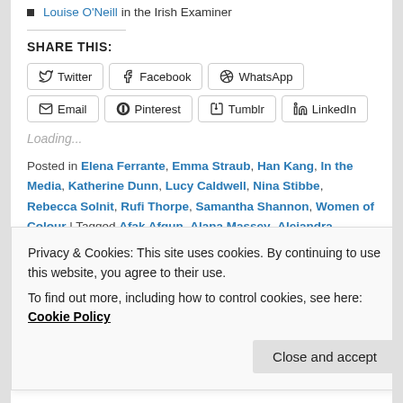Louise O'Neill in the Irish Examiner
SHARE THIS:
Twitter  Facebook  WhatsApp  Email  Pinterest  Tumblr  LinkedIn
Loading...
Posted in Elena Ferrante, Emma Straub, Han Kang, In the Media, Katherine Dunn, Lucy Caldwell, Nina Stibbe, Rebecca Solnit, Rufi Thorpe, Samantha Shannon, Women of Colour | Tagged Afak Afgun, Alana Massey, Alejandra Pizarnik, Alex Clark, Amy Jones, Amy Watkin, Anakana
Privacy & Cookies: This site uses cookies. By continuing to use this website, you agree to their use.
To find out more, including how to control cookies, see here: Cookie Policy
Close and accept